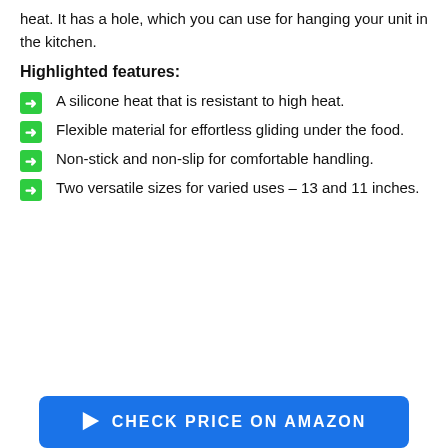heat. It has a hole, which you can use for hanging your unit in the kitchen.
Highlighted features:
A silicone heat that is resistant to high heat.
Flexible material for effortless gliding under the food.
Non-stick and non-slip for comfortable handling.
Two versatile sizes for varied uses – 13 and 11 inches.
Check Price On Amazon